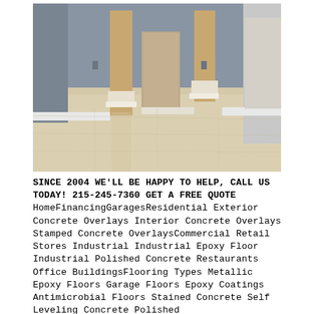[Figure (photo): Interior room photo showing a polished/epoxy-coated concrete floor with two wooden columns, blue-gray walls, and a doorway in the background.]
SINCE 2004 WE'LL BE HAPPY TO HELP, CALL US TODAY! 215-245-7360 GET A FREE QUOTE HomeFinancingGaragesResidential Exterior Concrete Overlays Interior Concrete Overlays Stamped Concrete OverlaysCommercial Retail Stores Industrial Industrial Epoxy Floor Industrial Polished Concrete Restaurants Office BuildingsFlooring Types Metallic Epoxy Floors Garage Floors Epoxy Coatings Antimicrobial Floors Stained Concrete Self Leveling Concrete Polished